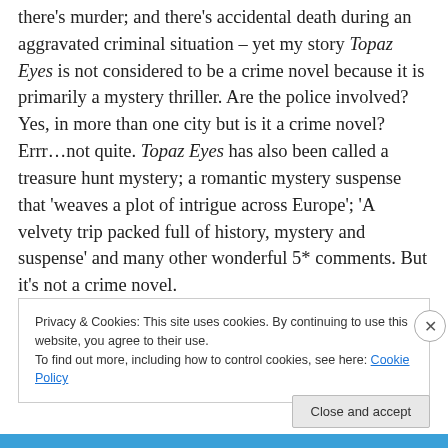there's murder; and there's accidental death during an aggravated criminal situation – yet my story Topaz Eyes is not considered to be a crime novel because it is primarily a mystery thriller. Are the police involved? Yes, in more than one city but is it a crime novel? Errr…not quite. Topaz Eyes has also been called a treasure hunt mystery; a romantic mystery suspense that 'weaves a plot of intrigue across Europe'; 'A velvety trip packed full of history, mystery and suspense' and many other wonderful 5* comments. But it's not a crime novel.
Privacy & Cookies: This site uses cookies. By continuing to use this website, you agree to their use.
To find out more, including how to control cookies, see here: Cookie Policy
Close and accept